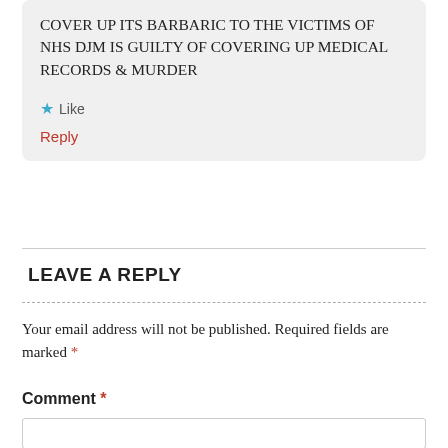COVER UP ITS BARBARIC TO THE VICTIMS OF NHS DJM IS GUILTY OF COVERING UP MEDICAL RECORDS & MURDER
★ Like
Reply
LEAVE A REPLY
Your email address will not be published. Required fields are marked *
Comment *